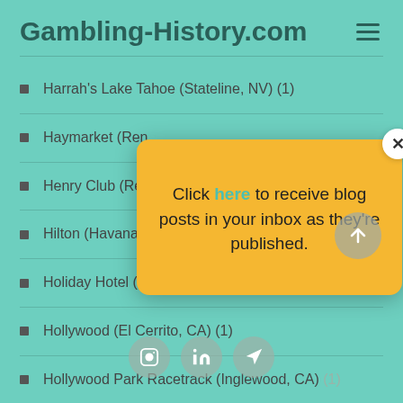Gambling-History.com
Harrah's Lake Tahoe (Stateline, NV) (1)
Haymarket (Reno, ...)
Henry Club (Reno, ...)
Hilton (Havana, ...)
Holiday Hotel (Reno, NV) (1)
Hollywood (El Cerrito, CA) (1)
Hollywood Park Racetrack (Inglewood, CA) (1)
[Figure (screenshot): Popup dialog with yellow background saying 'Click here to receive blog posts in your inbox as they're published.' with a close X button in top right corner.]